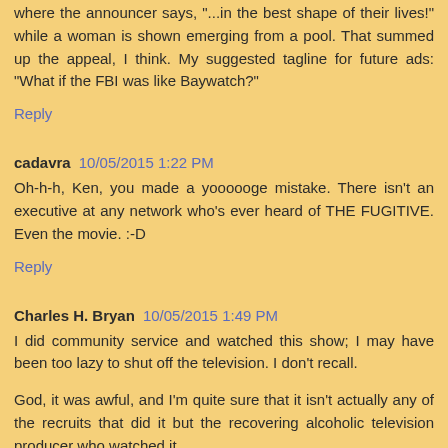where the announcer says, "...in the best shape of their lives!" while a woman is shown emerging from a pool. That summed up the appeal, I think. My suggested tagline for future ads: "What if the FBI was like Baywatch?"
Reply
cadavra  10/05/2015 1:22 PM
Oh-h-h, Ken, you made a yoooooge mistake. There isn't an executive at any network who's ever heard of THE FUGITIVE. Even the movie. :-D
Reply
Charles H. Bryan  10/05/2015 1:49 PM
I did community service and watched this show; I may have been too lazy to shut off the television. I don't recall.
God, it was awful, and I'm quite sure that it isn't actually any of the recruits that did it but the recovering alcoholic television producer who watched it. Something of interest...